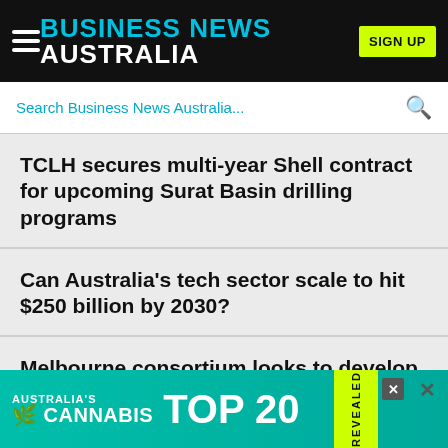BUSINESS NEWS AUSTRALIA | SIGN UP
Search Business News Australia...
TCLH secures multi-year Shell contract for upcoming Surat Basin drilling programs
Can Australia's tech sector scale to hit $250 billion by 2030?
Melbourne consortium looks to develop Australia's tallest building in Southport
Victoria... reco...
[Figure (advertisement): Australia's Cannabis TOP 20 REVEALED advertisement banner in teal/green with yellow-green accent]